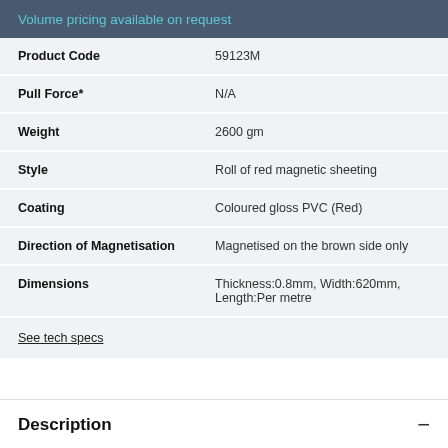Volume pricing available on request
| Property | Value |
| --- | --- |
| Product Code | 59123M |
| Pull Force* | N/A |
| Weight | 2600 gm |
| Style | Roll of red magnetic sheeting |
| Coating | Coloured gloss PVC (Red) |
| Direction of Magnetisation | Magnetised on the brown side only |
| Dimensions | Thickness:0.8mm, Width:620mm, Length:Per metre |
See tech specs
Description